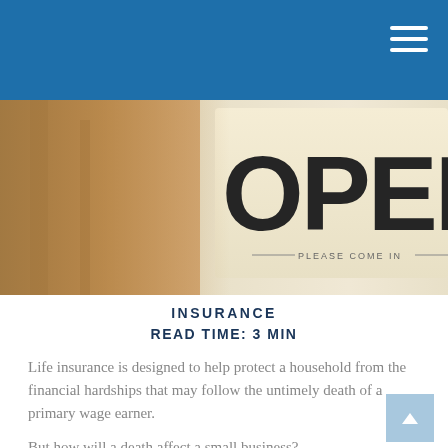[Figure (photo): Blue header bar with hamburger menu icon in top right corner]
[Figure (photo): Photo of a wooden 'OPEN — PLEASE COME IN —' sign with blurred background, partially cropped on right side]
INSURANCE
READ TIME: 3 MIN
Life insurance is designed to help protect a household from the financial hardships that may follow the untimely death of a primary wage earner.
But how will a death affect a small business?